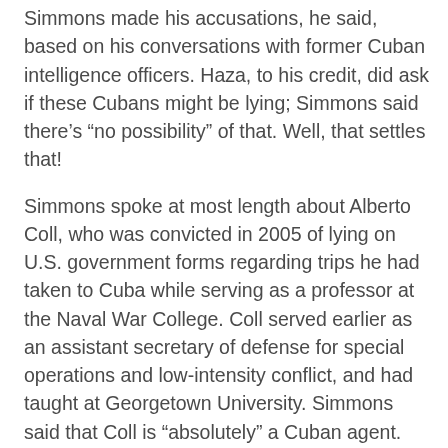Simmons made his accusations, he said, based on his conversations with former Cuban intelligence officers. Haza, to his credit, did ask if these Cubans might be lying; Simmons said there’s “no possibility” of that. Well, that settles that!
Simmons spoke at most length about Alberto Coll, who was convicted in 2005 of lying on U.S. government forms regarding trips he had taken to Cuba while serving as a professor at the Naval War College. Coll served earlier as an assistant secretary of defense for special operations and low-intensity conflict, and had taught at Georgetown University. Simmons said that Coll is “absolutely” a Cuban agent.
When Coll faced charges related to that travel violation, rumors abounded that he was being investigated for espionage. Haza asked if Simmons had anything to do with the Coll investigation. Simmons said he would “rather not say.” Haza politely left it at that.
But Simmons insisted that the accusations Coll...